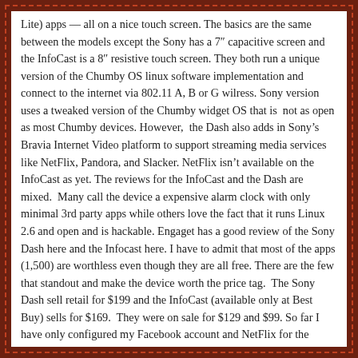Lite) apps — all on a nice touch screen.  The basics are the same between the models except the Sony has a 7" capacitive screen and the InfoCast is a 8" resistive touch screen.  They both run a unique version of the Chumby OS linux software implementation and connect to the internet via 802.11 A, B or G wilress. Sony version uses a tweaked version of the Chumby widget OS that is  not as open as most Chumby devices. However,  the Dash also adds in Sony's Bravia Internet Video platform to support streaming media services like NetFlix, Pandora, and Slacker. NetFlix isn't available on the InfoCast as yet. The reviews for the InfoCast and the Dash are mixed.  Many call the device a expensive alarm clock with only minimal 3rd party apps while others love the fact that it runs Linux 2.6 and open and is hackable. Engaget has a good review of the Sony Dash here and the Infocast here. I have to admit that most of the apps (1,500) are worthless even though they are all free. There are the few that standout and make the device worth the price tag.  The Sony Dash sell retail for $199 and the InfoCast (available only at Best Buy) sells for $169.  They were on sale for $129 and $99. So far I have only configured my Facebook account and NetFlix for the Dash.  Watching videos has been flawless. Next week I'll open the InfoCast